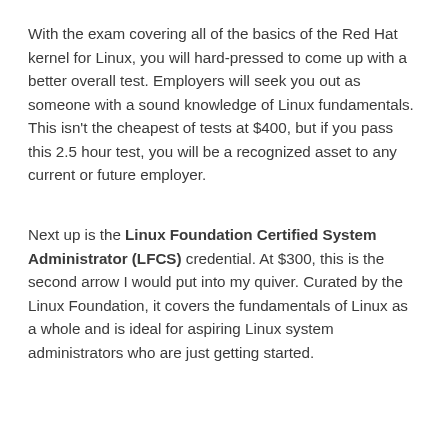With the exam covering all of the basics of the Red Hat kernel for Linux, you will hard-pressed to come up with a better overall test. Employers will seek you out as someone with a sound knowledge of Linux fundamentals. This isn't the cheapest of tests at $400, but if you pass this 2.5 hour test, you will be a recognized asset to any current or future employer.
Next up is the Linux Foundation Certified System Administrator (LFCS) credential. At $300, this is the second arrow I would put into my quiver. Curated by the Linux Foundation, it covers the fundamentals of Linux as a whole and is ideal for aspiring Linux system administrators who are just getting started.